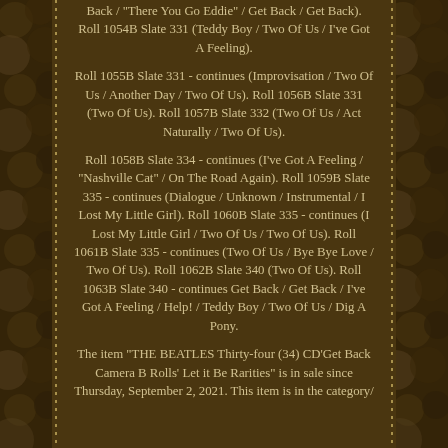Back / "There You Go Eddie" / Get Back / Get Back). Roll 1054B Slate 331 (Teddy Boy / Two Of Us / I've Got A Feeling). Roll 1055B Slate 331 - continues (Improvisation / Two Of Us / Another Day / Two Of Us). Roll 1056B Slate 331 (Two Of Us). Roll 1057B Slate 332 (Two Of Us / Act Naturally / Two Of Us). Roll 1058B Slate 334 - continues (I've Got A Feeling / "Nashville Cat" / On The Road Again). Roll 1059B Slate 335 - continues (Dialogue / Unknown / Instrumental / I Lost My Little Girl). Roll 1060B Slate 335 - continues (I Lost My Little Girl / Two Of Us / Two Of Us). Roll 1061B Slate 335 - continues (Two Of Us / Bye Bye Love / Two Of Us). Roll 1062B Slate 340 (Two Of Us). Roll 1063B Slate 340 - continues Get Back / Get Back / I've Got A Feeling / Help! / Teddy Boy / Two Of Us / Dig A Pony. The item "THE BEATLES Thirty-four (34) CD'Get Back Camera B Rolls' Let it Be Rarities" is in sale since Thursday, September 2, 2021. This item is in the category/